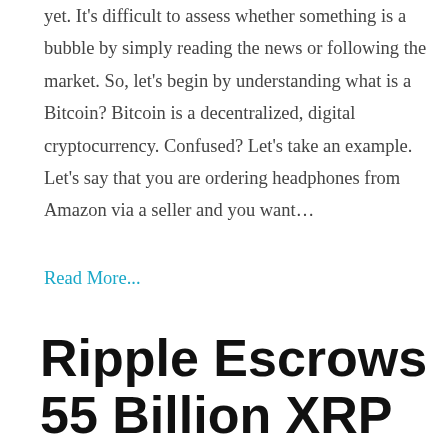yet. It's difficult to assess whether something is a bubble by simply reading the news or following the market. So, let's begin by understanding what is a Bitcoin? Bitcoin is a decentralized, digital cryptocurrency. Confused? Let's take an example. Let's say that you are ordering headphones from Amazon via a seller and you want…
Read More...
Ripple Escrows 55 Billion XRP for Supply